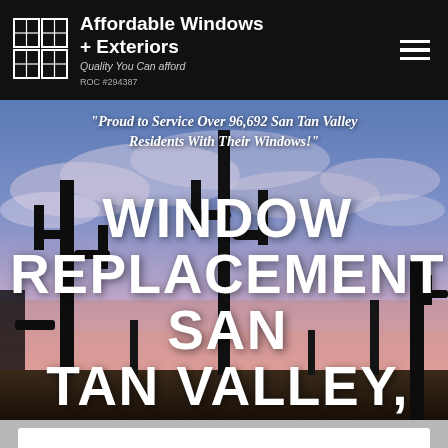Affordable Windows + Exteriors — Quality You Can afford — ROC #294387
[Figure (photo): Desert landscape with tall saguaro cactus silhouettes against a dramatic sunset sky with purple and pink clouds, serving as a hero background image for a window replacement company website]
"Proud to Service Over 96,692 San Tan Valley Residents With Their Windows!"
WINDOW REPLACEMENT SAN TAN VALLEY, ARIZONA